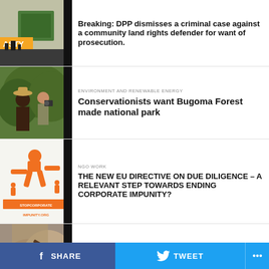[Figure (photo): Partial news item thumbnail showing a sign and yellow text 'ASTY']
Breaking: DPP dismisses a criminal case against a community land rights defender for want of prosecution.
[Figure (photo): Two people in nature, one with binoculars]
ENVIRONMENT AND RENEWABLE ENERGY
Conservationists want Bugoma Forest made national park
[Figure (illustration): Orange cartoon figure with STOPCORPORATEIMPUNITY.ORG text logo]
NGO WORK
THE NEW EU DIRECTIVE ON DUE DILIGENCE – A RELEVANT STEP TOWARDS ENDING CORPORATE IMPUNITY?
[Figure (photo): Person climbing rock or tree]
ENVIRONMENT AND RENEWABLE ENERGY
Ugandan communities battle to benefit from mining on their land
[Figure (photo): Desert or dry landscape]
ACCOUNTABLE DEVELOPMENT TO COMMUNITIES
International Finance Corporation Should Stop Bankrolling Destructive
SHARE   TWEET   ...